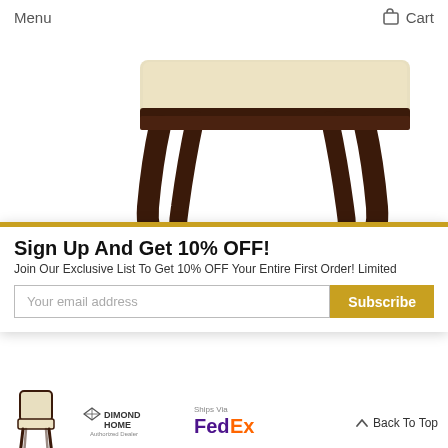Menu  Cart
[Figure (photo): Product photo of a wooden stool with cream upholstered seat top and dark wood cabriole legs, partially cropped at edges]
Sign Up And Get 10% OFF!
Join Our Exclusive List To Get 10% OFF Your Entire First Order! Limited
[Figure (other): Email subscription form with input field 'Your email address' and gold Subscribe button]
[Figure (photo): Thumbnail of a side chair with cream upholstery and dark wood legs]
[Figure (logo): Dimond Home Authorized Dealer logo]
Ships Via
[Figure (logo): FedEx logo]
Back To Top
Sterling Blakemore Wood & Fabric Side Chair (Set o...